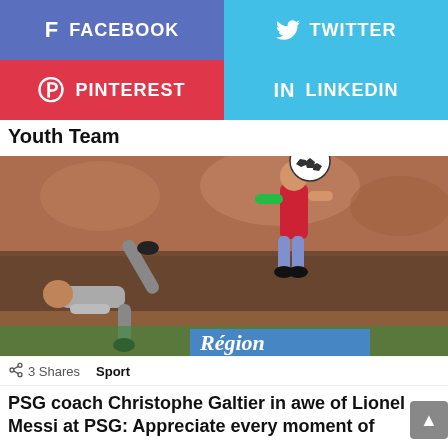[Figure (infographic): Social media share buttons: Facebook (blue-purple), Twitter (light blue), Pinterest (red), LinkedIn (light blue)]
Youth Team
[Figure (photo): Soccer/football match action photo showing a player performing a bicycle kick overhead, with another player in red jersey above, crowd in background, Région advertising board visible]
3 Shares   Sport
PSG coach Christophe Galtier in awe of Lionel Messi at PSG: Appreciate every moment of